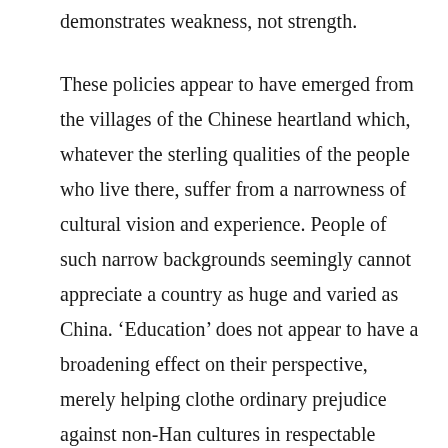demonstrates weakness, not strength.
These policies appear to have emerged from the villages of the Chinese heartland which, whatever the sterling qualities of the people who live there, suffer from a narrowness of cultural vision and experience. People of such narrow backgrounds seemingly cannot appreciate a country as huge and varied as China. ‘Education’ does not appear to have a broadening effect on their perspective, merely helping clothe ordinary prejudice against non-Han cultures in respectable official language.
The drive to eliminate both dialects and minority ethnic languages — languages of major cultural significance in Chinese history — can only be